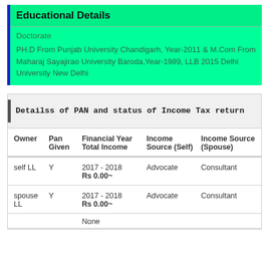Educational Details
Doctorate
PH.D From Punjab University Chandigarh, Year-2011 & M.Com From Maharaj Sayajirao University Baroda,Year-1989, LLB 2015 Delhi University New Delhi
Detailss of PAN and status of Income Tax return
| Owner | Pan Given | Financial Year Total Income | Income Source (Self) | Income Source (Spouse) |
| --- | --- | --- | --- | --- |
| self LL | Y | 2017 - 2018
Rs 0.00~ | Advocate | Consultant |
| spouse LL | Y | 2017 - 2018
Rs 0.00~ | Advocate | Consultant |
|  |  | None |  |  |